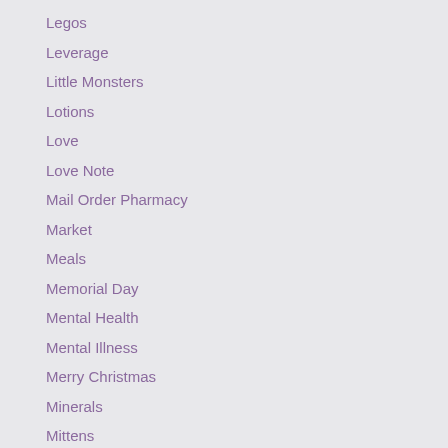Legos
Leverage
Little Monsters
Lotions
Love
Love Note
Mail Order Pharmacy
Market
Meals
Memorial Day
Mental Health
Mental Illness
Merry Christmas
Minerals
Mittens
Mittens & Scarves
Momentum
Monday
Mosquito